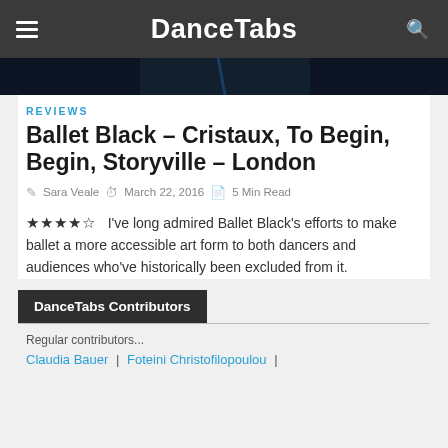DanceTabs
[Figure (photo): Dark photograph, partial view of a dancer, black background with blue accent lighting]
REVIEWS
Ballet Black – Cristaux, To Begin, Begin, Storyville – London
Sara Veale   March 22, 2016   5 Min Read
★★★★☆   I've long admired Ballet Black's efforts to make ballet a more accessible art form to both dancers and audiences who've historically been excluded from it.
DanceTabs Contributors
Regular contributors...
Claudia Bauer | Foteini Christofilopoulou |